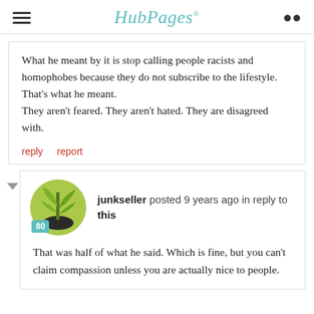HubPages
What he meant by it is stop calling people racists and homophobes because they do not subscribe to the lifestyle. That's what he meant.
They aren't feared. They aren't hated. They are disagreed with.
reply   report
junkseller posted 9 years ago in reply to this
That was half of what he said. Which is fine, but you can't claim compassion unless you are actually nice to people.